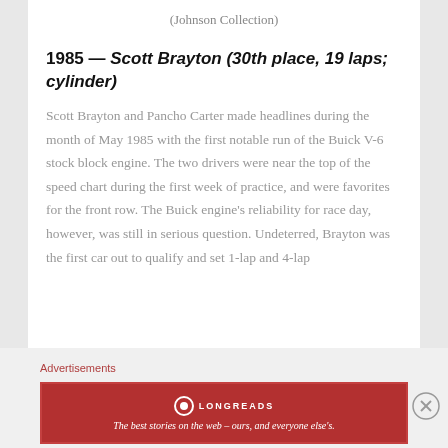(Johnson Collection)
1985 — Scott Brayton (30th place, 19 laps; cylinder)
Scott Brayton and Pancho Carter made headlines during the month of May 1985 with the first notable run of the Buick V-6 stock block engine. The two drivers were near the top of the speed chart during the first week of practice, and were favorites for the front row. The Buick engine's reliability for race day, however, was still in serious question. Undeterred, Brayton was the first car out to qualify and set 1-lap and 4-lap
Advertisements
[Figure (other): Longreads advertisement banner: red background with Longreads logo and tagline 'The best stories on the web – ours, and everyone else's.']